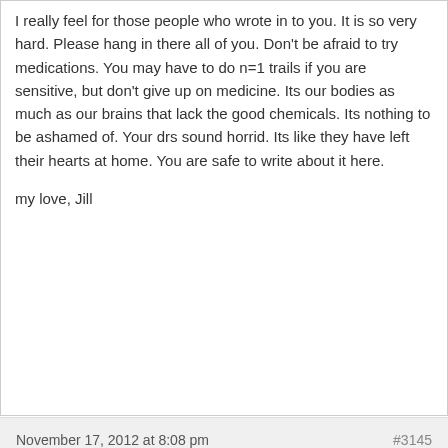I really feel for those people who wrote in to you. It is so very hard. Please hang in there all of you. Don't be afraid to try medications. You may have to do n=1 trails if you are sensitive, but don't give up on medicine. Its our bodies as much as our brains that lack the good chemicals. Its nothing to be ashamed of. Your drs sound horrid. Its like they have left their hearts at home. You are safe to write about it here.
my love, Jill
November 17, 2012 at 8:08 pm   #3145
Dr. Diana
Keymaster
I believe MY depression is a symptom of my disease (MS) and not a reaction to having my disease. Antidepressants do help. When I describe various symptoms to different doctors, normally my frustration is that they automatically